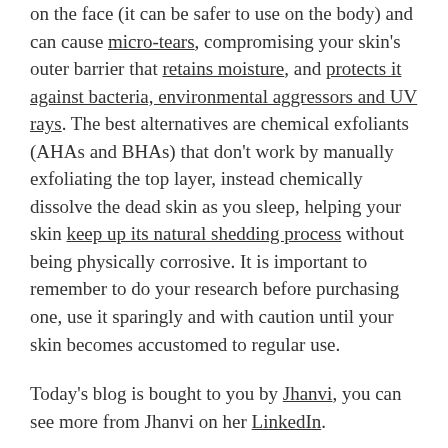on the face (it can be safer to use on the body) and can cause micro-tears, compromising your skin's outer barrier that retains moisture, and protects it against bacteria, environmental aggressors and UV rays. The best alternatives are chemical exfoliants (AHAs and BHAs) that don't work by manually exfoliating the top layer, instead chemically dissolve the dead skin as you sleep, helping your skin keep up its natural shedding process without being physically corrosive. It is important to remember to do your research before purchasing one, use it sparingly and with caution until your skin becomes accustomed to regular use.
Today's blog is bought to you by Jhanvi, you can see more from Jhanvi on her LinkedIn.